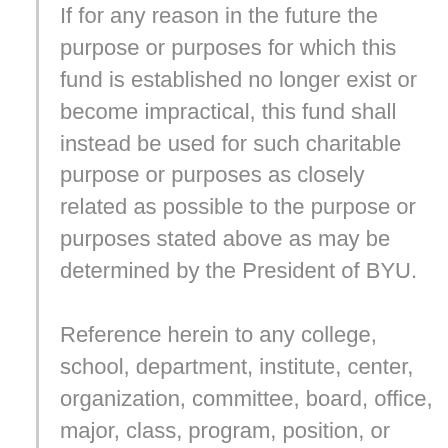If for any reason in the future the purpose or purposes for which this fund is established no longer exist or become impractical, this fund shall instead be used for such charitable purpose or purposes as closely related as possible to the purpose or purposes stated above as may be determined by the President of BYU.
Reference herein to any college, school, department, institute, center, organization, committee, board, office, major, class, program, position, or personnel at BYU, shall include and shall also refer to any successor of such college, school, department, institute,